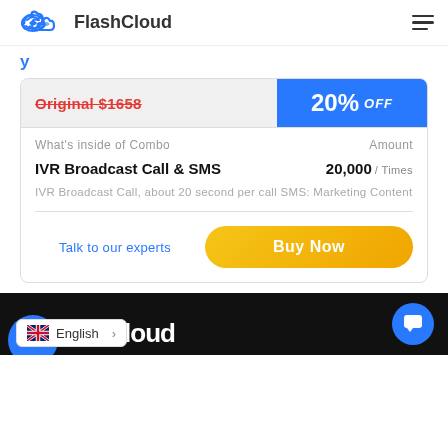FlashCloud
Original $1658   20% OFF
What's inside of Combo   Amount
IVR Broadcast Call & SMS   20,000 / Times
IVR Broadcast Call, about 20 second per call SMS: Marketing Content
Talk to our experts   Buy Now
English >